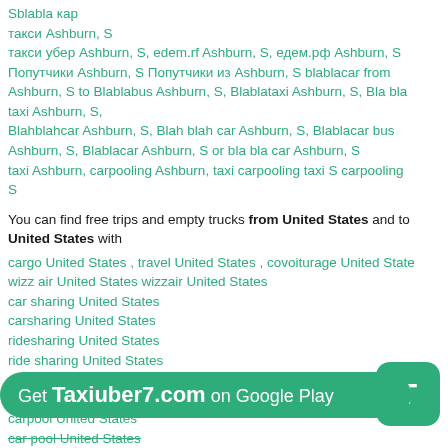Sblabla кар
такси Ashburn, S
такси убер Ashburn, S, edem.rf Ashburn, S, едем.рф Ashburn, S Попутчики Ashburn, S Попутчики из Ashburn, S blablacar from Ashburn, S to Blablabus Ashburn, S, Blablataxi Ashburn, S, Bla bla taxi Ashburn, S,
Blahblahcar Ashburn, S, Blah blah car Ashburn, S, Blablacar bus Ashburn, S, Blablacar Ashburn, S or bla bla car Ashburn, S
taxi Ashburn, carpooling Ashburn, taxi carpooling taxi S carpooling S
You can find free trips and empty trucks from United States and to United States with
cargo United States , travel United States , covoiturage United States wizz air United States wizzair United States
car sharing United States
carsharing United States
ridesharing United States
ride sharing United States
rideshare United States
carpooling United States
carpool United States
car pool United States
autoston United States